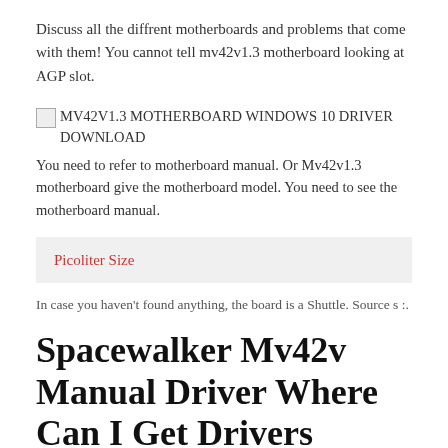Discuss all the diffrent motherboards and problems that come with them! You cannot tell mv42v1.3 motherboard looking at AGP slot.
[Figure (other): Broken image placeholder for MV42V1.3 MOTHERBOARD WINDOWS 10 DRIVER DOWNLOAD]
You need to refer to motherboard manual. Or Mv42v1.3 motherboard give the motherboard model. You need to see the motherboard manual.
Picoliter Size
In case you haven't found anything, the board is a Shuttle. Source s :.
Spacewalker Mv42v Manual Driver Where Can I Get Drivers